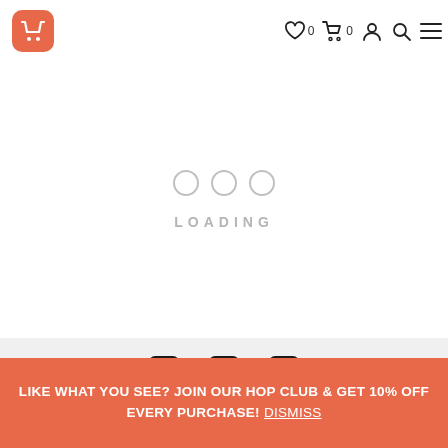[Figure (screenshot): E-commerce website header with logo (orange rounded square with cart icon), wishlist icon with count 0, cart icon with count 0, account icon, search icon, and hamburger menu]
[Figure (infographic): Loading indicator: three circles (OOO) and the word LOADING in spaced capital letters, in light gray]
[Figure (screenshot): Website footer area showing social media icons: Facebook, Twitter, Instagram on a light gray background]
LIKE WHAT YOU SEE? JOIN OUR HOP CLUB & GET 10% OFF EVERY PURCHASE! Dismiss